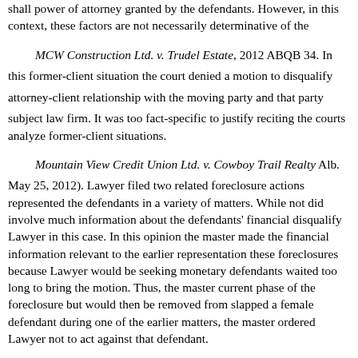shall power of attorney granted by the defendants. However, in this context, these factors are not necessarily determinative of the
MCW Construction Ltd. v. Trudel Estate, 2012 ABQB 34. In this former-client situation the court denied a motion to disqualify attorney-client relationship with the moving party and that party had sued the subject law firm. It was too fact-specific to justify reciting the factors courts analyze former-client situations.
Mountain View Credit Union Ltd. v. Cowboy Trail Realty (Q.B. Alb. May 25, 2012). Lawyer filed two related foreclosure actions and had represented the defendants in a variety of matters. While not the same matter, did involve much information about the defendants' financial situation. Motion to disqualify Lawyer in this case. In this opinion the master made findings that the financial information relevant to the earlier representation was relevant to these foreclosures because Lawyer would be seeking monetary judgment, that defendants waited too long to bring the motion. Thus, the master allowed the current phase of the foreclosure but would then be removed from the case. Lawyer slapped a female defendant during one of the earlier matters, so as to that matter the master ordered Lawyer not to act against that defendant.
In re Wonderland Enchanted Bakery at the Grove, Inc., 2